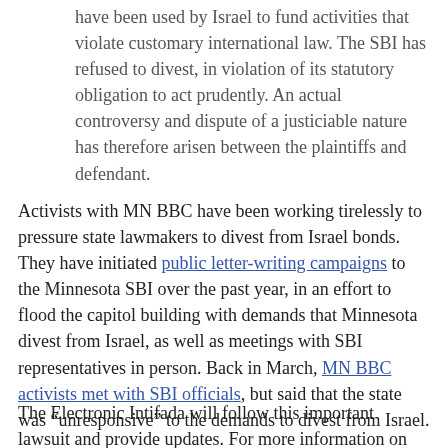have been used by Israel to fund activities that violate customary international law. The SBI has refused to divest, in violation of its statutory obligation to act prudently. An actual controversy and dispute of a justiciable nature has therefore arisen between the plaintiffs and defendant.
Activists with MN BBC have been working tirelessly to pressure state lawmakers to divest from Israel bonds. They have initiated public letter-writing campaigns to the Minnesota SBI over the past year, in an effort to flood the capitol building with demands that Minnesota divest from Israel, as well as meetings with SBI representatives in person. Back in March, MN BBC activists met with SBI officials, but said that the state was “unresponsive” to the demands to divest from Israel.
The Electronic Intifada will follow this important lawsuit and provide updates. For more information on the Minnesota